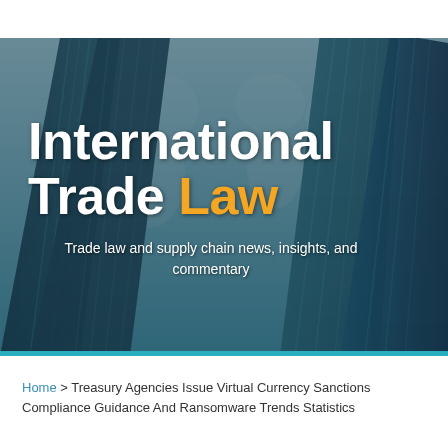[Figure (photo): Hero banner with skyscraper buildings viewed from below against a blue sky with a world map overlay, teal tint. Contains site title 'International Trade Law' and subtitle 'Trade law and supply chain news, insights, and commentary'.]
International Trade Law
Trade law and supply chain news, insights, and commentary
Home > Treasury Agencies Issue Virtual Currency Sanctions Compliance Guidance And Ransomware Trends Statistics